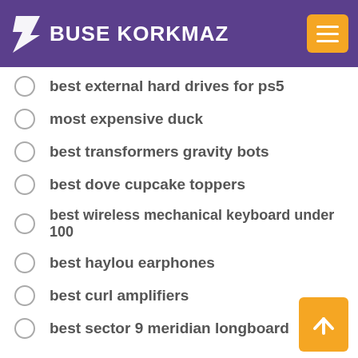BUSE KORKMAZ
best external hard drives for ps5
most expensive duck
best transformers gravity bots
best dove cupcake toppers
best wireless mechanical keyboard under 100
best haylou earphones
best curl amplifiers
best sector 9 meridian longboard